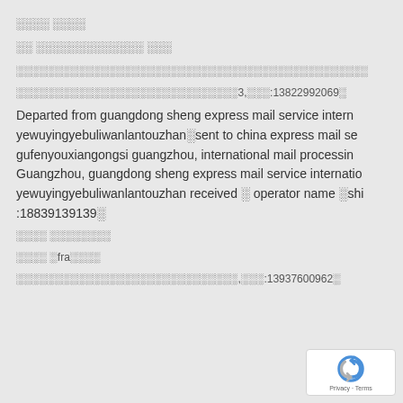░░░░ ░░░░
░░ ░░░░░░░░░░░░░ ░░░
░░░░░░░░░░░░░░░░░░░░░░░░░░░░░░░░░░░░░░░░░░░░░░░
░░░░░░░░░░░░░░░░░░░░░░░░░░░░░3,░░░:13822992069░
Departed from guangdong sheng express mail service intern yewuyingyebuliwanlantouzhan░sent to china express mail se gufenyouxiangongsi guangzhou, international mail processin Guangzhou, guangdong sheng express mail service internatio yewuyingyebuliwanlantouzhan received ░ operator name ░shi :18839139139░
░░░░ ░░░░░░░░
░░░░ ░fra░░░░
░░░░░░░░░░░░░░░░░░░░░░░░░░░░░,░░░:13937600962░